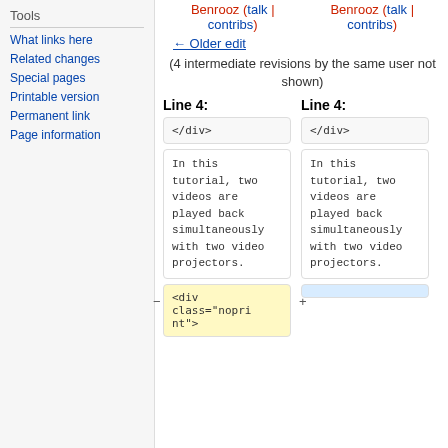Tools
What links here
Related changes
Special pages
Printable version
Permanent link
Page information
Benrooz (talk | contribs)    Benrooz (talk | contribs)
← Older edit
(4 intermediate revisions by the same user not shown)
Line 4:    Line 4:
</div>    </div>
In this tutorial, two videos are played back simultaneously with two video projectors.
<div class="nopri nt">